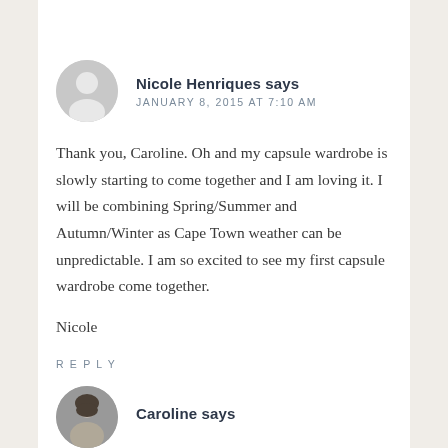Nicole Henriques says
JANUARY 8, 2015 AT 7:10 AM
Thank you, Caroline. Oh and my capsule wardrobe is slowly starting to come together and I am loving it. I will be combining Spring/Summer and Autumn/Winter as Cape Town weather can be unpredictable. I am so excited to see my first capsule wardrobe come together.
Nicole
REPLY
Caroline says